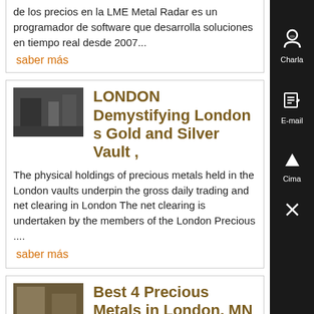de los precios en la LME Metal Radar es un programador de software que desarrolla soluciones en tiempo real desde 2007...
saber más
LONDON Demystifying London s Gold and Silver Vault ,
The physical holdings of precious metals held in the London vaults underpin the gross daily trading and net clearing in London The net clearing is undertaken by the members of the London Precious ....
saber más
Best 4 Precious Metals in London, MN with